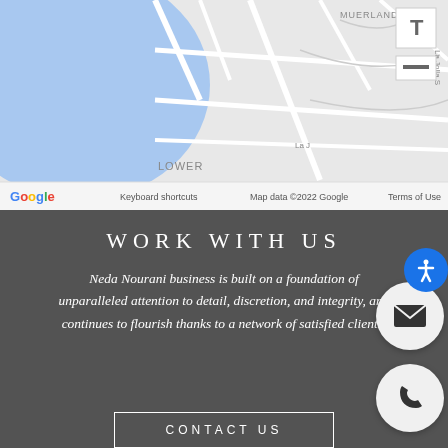[Figure (screenshot): Google Maps screenshot showing a coastal area with water body on the left, road network, and 'LOWER' label visible. Map footer shows keyboard shortcuts, Map data ©2022 Google, Terms of Use.]
WORK WITH US
Neda Nourani business is built on a foundation of unparalleled attention to detail, discretion, and integrity, and continues to flourish thanks to a network of satisfied clients.
CONTACT US